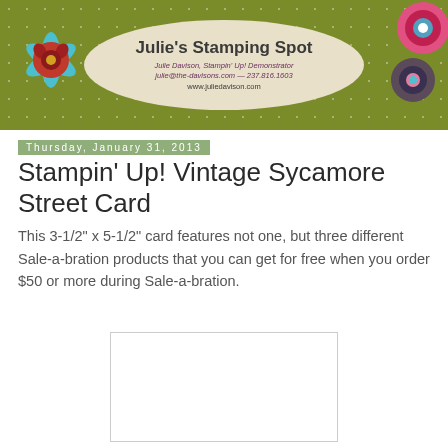[Figure (illustration): Julie's Stamping Spot blog banner with olive green polka-dot background, decorative flowers, and an oval cream-colored center with blog title and contact info]
Thursday, January 31, 2013
Stampin' Up! Vintage Sycamore Street Card
This 3-1/2" x 5-1/2" card features not one, but three different Sale-a-bration products that you can get for free when you order $50 or more during Sale-a-bration.
[Figure (photo): Photo of a handmade card (partially visible, white background)]